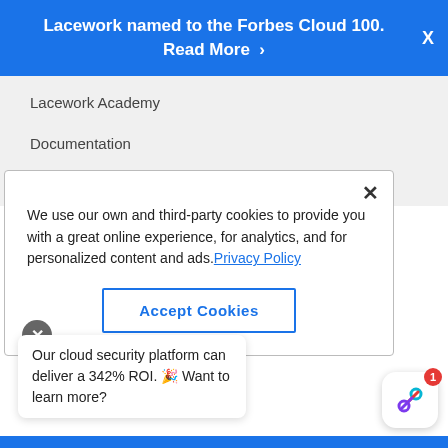Lacework named to the Forbes Cloud 100. Read More ›
Lacework Academy
Documentation
We use our own and third-party cookies to provide you with a great online experience, for analytics, and for personalized content and ads. Privacy Policy
Accept Cookies
Our cloud security platform can deliver a 342% ROI. 🎉 Want to learn more?